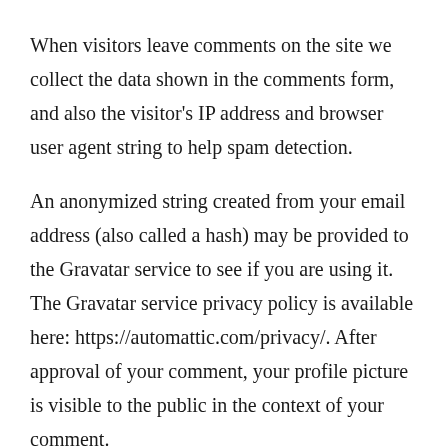When visitors leave comments on the site we collect the data shown in the comments form, and also the visitor's IP address and browser user agent string to help spam detection.
An anonymized string created from your email address (also called a hash) may be provided to the Gravatar service to see if you are using it. The Gravatar service privacy policy is available here: https://automattic.com/privacy/. After approval of your comment, your profile picture is visible to the public in the context of your comment.
Media